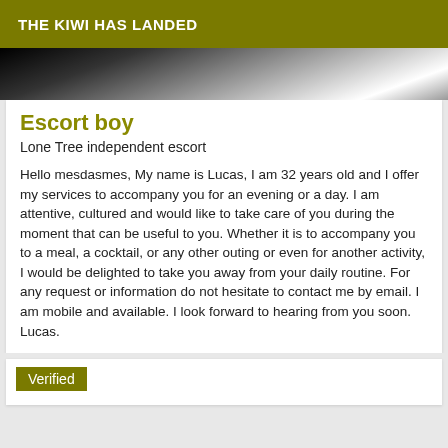THE KIWI HAS LANDED
[Figure (photo): Partial black and white photo strip at top of page, showing a blurred figure]
Escort boy
Lone Tree independent escort
Hello mesdasmes, My name is Lucas, I am 32 years old and I offer my services to accompany you for an evening or a day. I am attentive, cultured and would like to take care of you during the moment that can be useful to you. Whether it is to accompany you to a meal, a cocktail, or any other outing or even for another activity, I would be delighted to take you away from your daily routine. For any request or information do not hesitate to contact me by email. I am mobile and available. I look forward to hearing from you soon. Lucas.
Verified